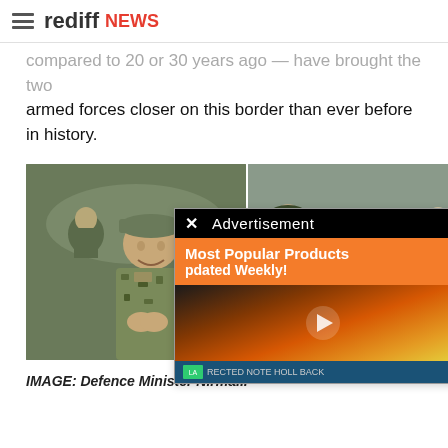rediff NEWS
compared to 20 or 30 years ago — have brought the two armed forces closer on this border than ever before in history.
[Figure (photo): Left: Chinese soldier in camouflage uniform making a namaste gesture. Right: Indian Defence Minister Nirmala Sitharaman in military beret with army officers. An advertisement overlay is visible on top of the right image, showing 'Most Popular Products updated Weekly!' in orange, with a video player showing fire/flames below.]
IMAGE: Defence Minister Nirma...